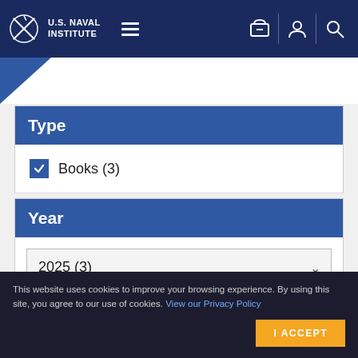U.S. Naval Institute
Type
Books (3)
Year
2025 (3)
Author
This website uses cookies to improve your browsing experience. By using this site, you agree to our use of cookies. View our Privacy Policy
I ACCEPT